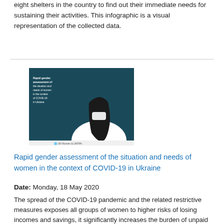eight shelters in the country to find out their immediate needs for sustaining their activities. This infographic is a visual representation of the collected data.
[Figure (illustration): Cover image of the report 'Rapid gender assessment of the situation and needs of women in the context of COVID-19 in Ukraine', showing a woman wearing a mask against a dark teal background, with UN Women and UNFPA logos at the bottom.]
Rapid gender assessment of the situation and needs of women in the context of COVID-19 in Ukraine
Date: Monday, 18 May 2020
The spread of the COVID-19 pandemic and the related restrictive measures exposes all groups of women to higher risks of losing incomes and savings, it significantly increases the burden of unpaid care work, exposes women and children to domestic violence and exacerbates vulnerabilities of those facing multiple forms of discrimination, reveals the new study developed by UN Women Ukraine.